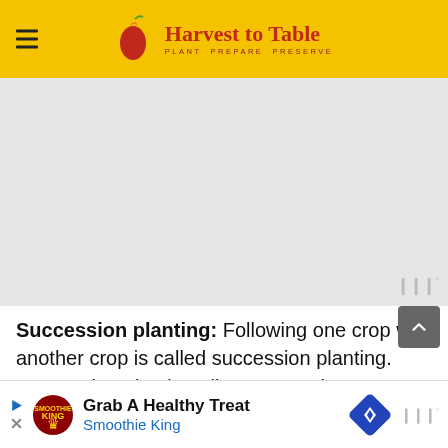Harvest to Table — PLANT PREPARE PRESERVE
[Figure (other): Grey advertisement placeholder box with waveform watermark in bottom right corner]
Succession planting: Following one crop with another crop is called succession planting. Succession planting allows you to increase your harvest without making your garden larger. For example follow a crop of spring lettuce with summer growing tomatoes, peppers, or eggplants. Then late in the summer, follow the summer-growing crops with cool-season crops... succession planting takes...
[Figure (infographic): Bottom advertisement banner: Grab A Healthy Treat — Smoothie King, with Smoothie King logo and blue navigation diamond icon]